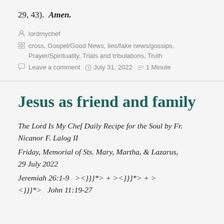29, 43). Amen.
lordmychef
cross, Gospel/Good News, lies/fake news/gossips, Prayer/Spirituality, Trials and tribulations, Truth
Leave a comment   July 31, 2022   1 Minute
Jesus as friend and family
The Lord Is My Chef Daily Recipe for the Soul by Fr. Nicanor F. Lalog II
Friday, Memorial of Sts. Mary, Martha, & Lazarus, 29 July 2022
Jeremiah 26:1-9   ><}}}*> + ><}}}*> + ><}}}*>   John 11:19-27